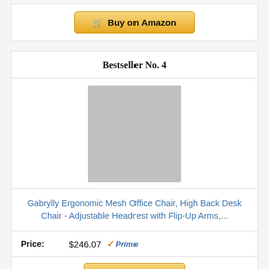[Figure (other): Buy on Amazon button with shopping cart icon, gold/yellow gradient button]
Bestseller No. 4
[Figure (photo): Product image placeholder - grey rectangle representing product photo]
Gabrylly Ergonomic Mesh Office Chair, High Back Desk Chair - Adjustable Headrest with Flip-Up Arms,...
Price: $246.07 Prime